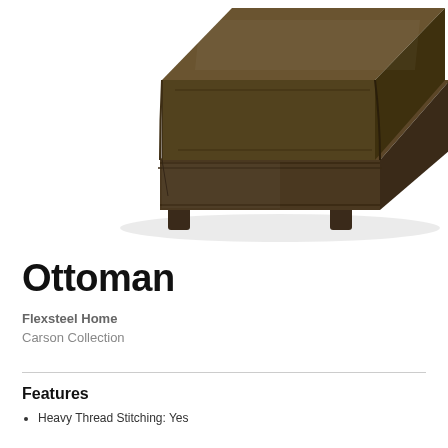[Figure (photo): Dark brown leather ottoman with cushioned top and four wooden legs, shown in a three-quarter view perspective against a white background.]
Ottoman
Flexsteel Home
Carson Collection
Features
Heavy Thread Stitching: Yes